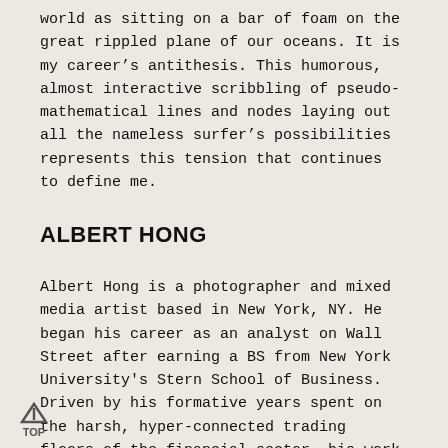world as sitting on a bar of foam on the great rippled plane of our oceans. It is my career's antithesis. This humorous, almost interactive scribbling of pseudo-mathematical lines and nodes laying out all the nameless surfer's possibilities represents this tension that continues to define me.
ALBERT HONG
Albert Hong is a photographer and mixed media artist based in New York, NY. He began his career as an analyst on Wall Street after earning a BS from New York University's Stern School of Business. Driven by his formative years spent on the harsh, hyper-connected trading floors of the financial sector, his work centers around the curious human need for escape...